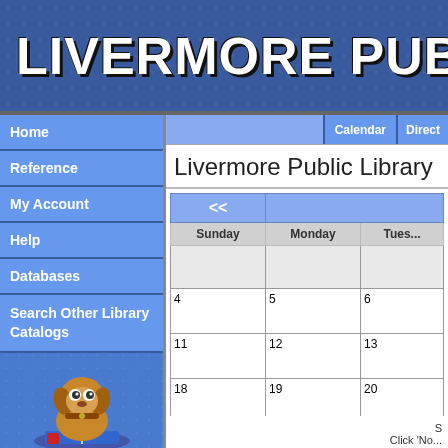LIVERMORE PUBLIC LI
Home
Reference
My Account
Help
Databases
Search Other Library Catalogs
[Figure (illustration): Cartoon dog mascot sitting on a book, Kid's Catalog link]
Kid's Catalog
Livermore Public Library
| << |  | Sunday | Monday | Tues... |
| --- | --- | --- | --- | --- |
|  |  |  |  |
| 4 | 5 | 6 |  |
| 11 | 12 | 13 |  |
| 18 | 19 | 20 |  |
| 25 | 26 | 27 |  |
Click 'No...